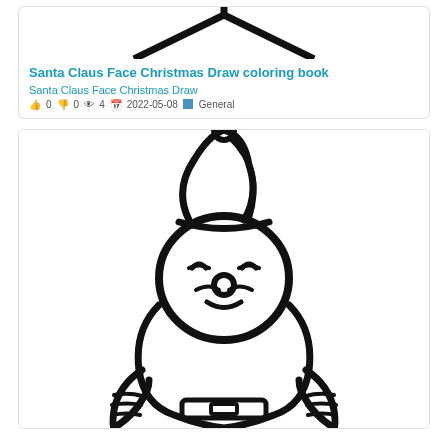[Figure (illustration): Partial view of a Santa Claus face coloring book line drawing, showing the top portion with hat outline]
Santa Claus Face Christmas Draw coloring book
Santa Claus Face Christmas Draw
👍 0 👎 0 👁 4 📅 2022-05-08 🗂 General
[Figure (illustration): Full Santa Claus coloring book line drawing showing Santa with hat, smiling face, beard, body with belt and striped sleeves]